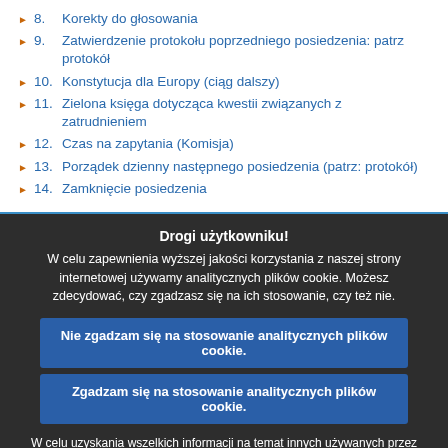8. Korekty do głosowania
9. Zatwierdzenie protokołu poprzedniego posiedzenia: patrz protokół
10. Konstytucja dla Europy (ciąg dalszy)
11. Zielona księga dotycząca kwestii związanych z zatrudnieniem
12. Czas na zapytania (Komisja)
13. Porządek dzienny następnego posiedzenia (patrz: protokół)
14. Zamknięcie posiedzenia
Drogi użytkowniku!
W celu zapewnienia wyższej jakości korzystania z naszej strony internetowej używamy analitycznych plików cookie. Możesz zdecydować, czy zgadzasz się na ich stosowanie, czy też nie.
Nie zgadzam się na stosowanie analitycznych plików cookie.
Zgadzam się na stosowanie analitycznych plików cookie.
W celu uzyskania wszelkich informacji na temat innych używanych przez nas plików cookie i rejestrów aktywności sieciowej zapraszamy do zapoznania się z naszą Polityką ochrony prywatności , naszą Polityką dotyczącą plików cookie i naszym Wykazem plików cookie.